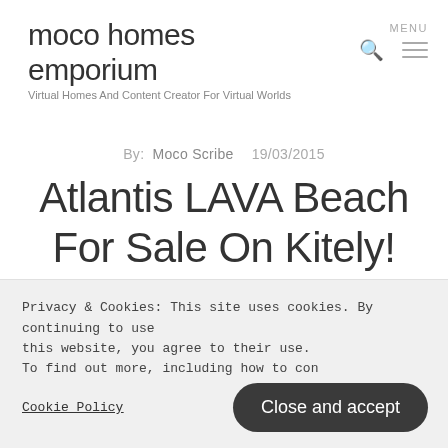moco homes emporium
Virtual Homes And Content Creator For Virtual Worlds
By: Moco Scribe  19/03/2015
Atlantis LAVA Beach For Sale On Kitely!
★★★★★ ℹ 3 Votes
Privacy & Cookies: This site uses cookies. By continuing to use this website, you agree to their use.
To find out more, including how to con...
Cookie Policy